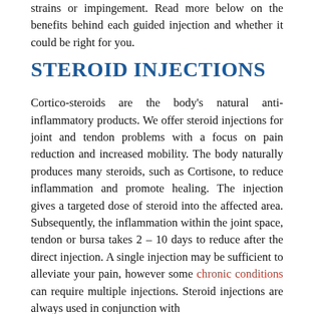strains or impingement. Read more below on the benefits behind each guided injection and whether it could be right for you.
STEROID INJECTIONS
Cortico-steroids are the body's natural anti-inflammatory products. We offer steroid injections for joint and tendon problems with a focus on pain reduction and increased mobility. The body naturally produces many steroids, such as Cortisone, to reduce inflammation and promote healing. The injection gives a targeted dose of steroid into the affected area. Subsequently, the inflammation within the joint space, tendon or bursa takes 2 – 10 days to reduce after the direct injection. A single injection may be sufficient to alleviate your pain, however some chronic conditions can require multiple injections. Steroid injections are always used in conjunction with